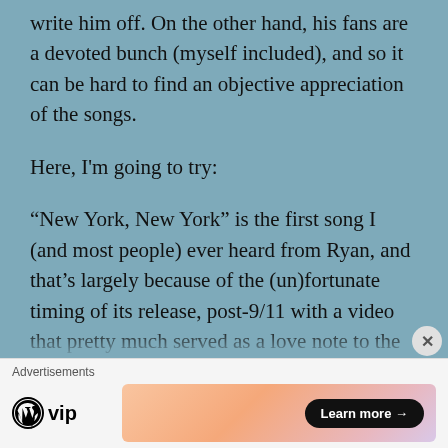write him off.  On the other hand, his fans are a devoted bunch (myself included), and so it can be hard to find an objective appreciation of the songs.
Here, I'm going to try:
“New York, New York” is the first song I (and most people) ever heard from Ryan, and that’s largely because of the (un)fortunate timing of its release, post-9/11 with a video that pretty much served as a love note to the city which ended with a shot of the Two Towers.  It
Advertisements
[Figure (logo): WordPress VIP logo with wordmark]
[Figure (other): Advertisement banner with gradient background and Learn more button]